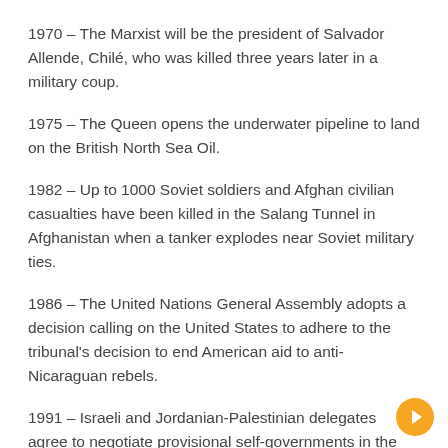1970 – The Marxist will be the president of Salvador Allende, Chilé, who was killed three years later in a military coup.
1975 – The Queen opens the underwater pipeline to land on the British North Sea Oil.
1982 – Up to 1000 Soviet soldiers and Afghan civilian casualties have been killed in the Salang Tunnel in Afghanistan when a tanker explodes near Soviet military ties.
1986 – The United Nations General Assembly adopts a decision calling on the United States to adhere to the tribunal's decision to end American aid to anti-Nicaraguan rebels.
1991 – Israeli and Jordanian-Palestinian delegates agree to negotiate provisional self-governments in the Israeli occupied West Bank and Gaza Strip
1992 – Bill Clinton defeats George Bush in the US presidential election.